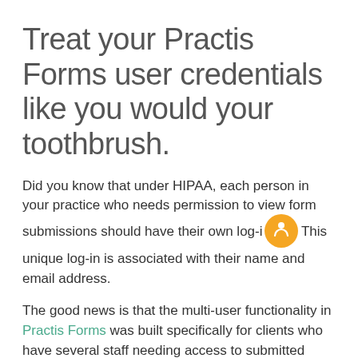Treat your Practis Forms user credentials like you would your toothbrush.
Did you know that under HIPAA, each person in your practice who needs permission to view form submissions should have their own log-in. This unique log-in is associated with their name and email address.
The good news is that the multi-user functionality in Practis Forms was built specifically for clients who have several staff needing access to submitted secure form data.
Here’s a quick guide to help you manage user access.